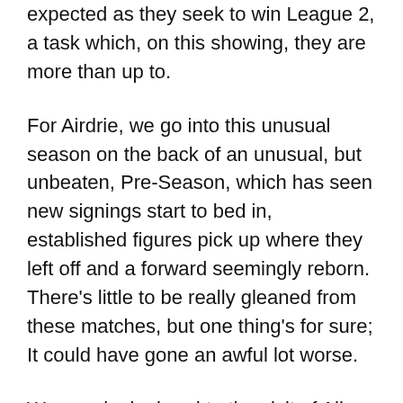expected as they seek to win League 2, a task which, on this showing, they are more than up to.
For Airdrie, we go into this unusual season on the back of an unusual, but unbeaten, Pre-Season, which has seen new signings start to bed in, established figures pick up where they left off and a forward seemingly reborn. There's little to be really gleaned from these matches, but one thing's for sure; It could have gone an awful lot worse.
We now look ahead to the visit of Alloa Athletic in the Betfred League Cup this Wednesday, a 1945 kickoff, as Airdrie return to competitive action for the first time since the 7th of March, a game that